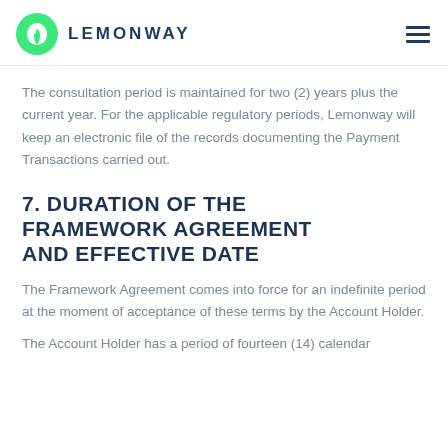LEMONWAY
The consultation period is maintained for two (2) years plus the current year. For the applicable regulatory periods, Lemonway will keep an electronic file of the records documenting the Payment Transactions carried out.
7. DURATION OF THE FRAMEWORK AGREEMENT AND EFFECTIVE DATE
The Framework Agreement comes into force for an indefinite period at the moment of acceptance of these terms by the Account Holder.
The Account Holder has a period of fourteen (14) calendar